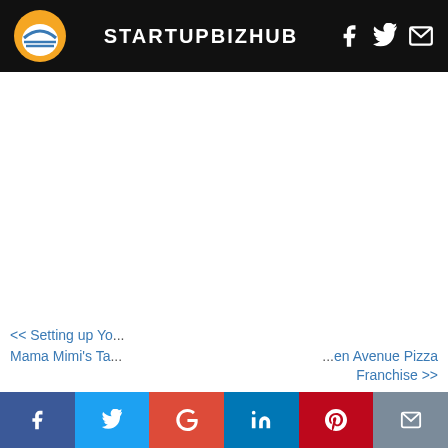STARTUPBIZHUB
<< Setting up Yo... Mama Mimi's Ta...
...en Avenue Pizza Franchise >>
[Figure (logo): Social share bar with Facebook, Twitter, Google+, LinkedIn, Pinterest, Email buttons]